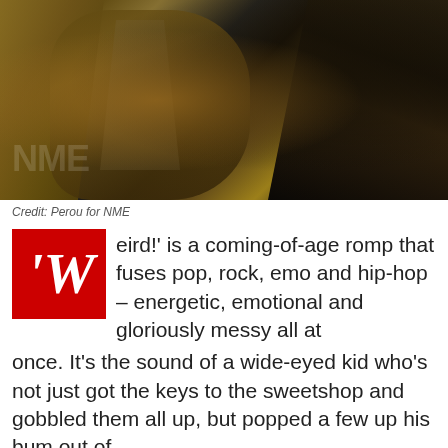[Figure (photo): Close-up photo of a person wearing a metallic gold/bronze jacket and white shirt underneath, with one hand raised near the collar. The image is dark and dramatically lit with gold and black tones. NME watermark visible.]
Credit: Perou for NME
'W eird!' is a coming-of-age romp that fuses pop, rock, emo and hip-hop – energetic, emotional and gloriously messy all at once. It's the sound of a wide-eyed kid who's not just got the keys to the sweetshop and gobbled them all up, but popped a few up his bum out of